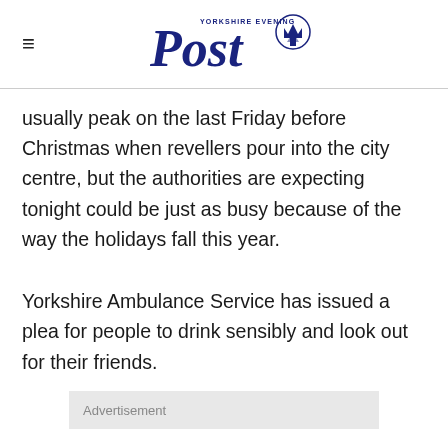Yorkshire Evening Post
usually peak on the last Friday before Christmas when revellers pour into the city centre, but the authorities are expecting tonight could be just as busy because of the way the holidays fall this year.
Yorkshire Ambulance Service has issued a plea for people to drink sensibly and look out for their friends.
Advertisement
Dr David Macklin, executive director of